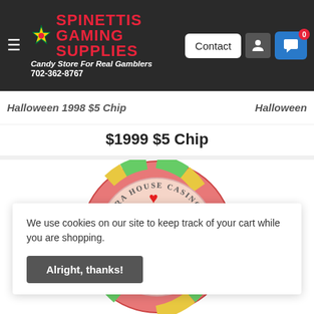[Figure (screenshot): Spinettis Gaming Supplies website header with logo, navigation hamburger menu, Contact button, and chat button with badge]
Halloween 1998 $5 Chip
Halloween
$1999 $5 Chip
[Figure (photo): Opera House Casino $5 chip featuring cartoon couple about to kiss with a heart above them, surrounded by green and yellow inserts on a pink/red chip]
We use cookies on our site to keep track of your cart while you are shopping.
Alright, thanks!